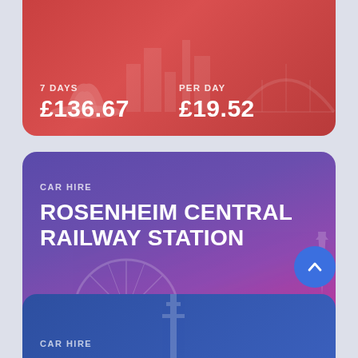[Figure (screenshot): Top card (red/coral gradient) showing 7 DAYS £136.67 and PER DAY £19.52 with city skyline silhouette including Sydney Opera House]
7 DAYS
£136.67
PER DAY
£19.52
[Figure (screenshot): Middle card (purple to pink gradient) for CAR HIRE at ROSENHEIM CENTRAL RAILWAY STATION showing 7 DAYS £120.37 and PER DAY £17.20 with London skyline silhouette including London Eye, Tower Bridge, The Shard]
CAR HIRE
ROSENHEIM CENTRAL RAILWAY STATION
7 DAYS
£120.37
PER DAY
£17.20
[Figure (screenshot): Bottom card (blue gradient) partially visible, showing CAR HIRE label with city tower silhouette]